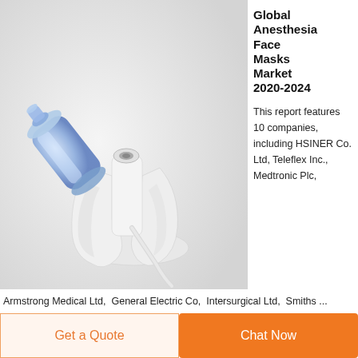[Figure (photo): Anesthesia face mask component — a white plastic bracket/holder with a transparent blue connector piece, photographed on a white/light gray background.]
Global Anesthesia Face Masks Market 2020-2024
This report features 10 companies, including HSINER Co. Ltd, Teleflex Inc., Medtronic Plc,
Armstrong Medical Ltd,  General Electric Co,  Intersurgical Ltd,  Smiths ...
Get a Quote
Chat Now